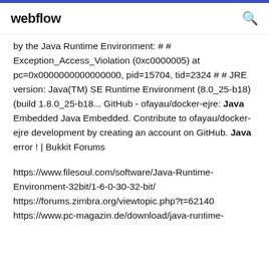webflow
by the Java Runtime Environment: # # Exception_Access_Violation (0xc0000005) at pc=0x0000000000000000, pid=15704, tid=2324 # # JRE version: Java(TM) SE Runtime Environment (8.0_25-b18) (build 1.8.0_25-b18... GitHub - ofayau/docker-ejre: Java Embedded Java Embedded. Contribute to ofayau/docker-ejre development by creating an account on GitHub. Java error ! | Bukkit Forums
https://www.filesoul.com/software/Java-Runtime-Environment-32bit/1-6-0-30-32-bit/ https://forums.zimbra.org/viewtopic.php?t=62140 https://www.pc-magazin.de/download/java-runtime-